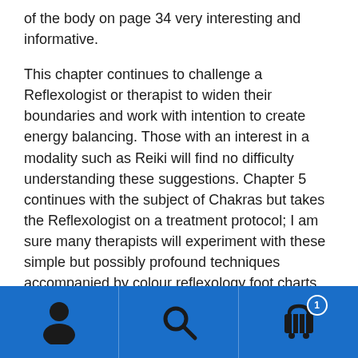of the body on page 34 very interesting and informative.
This chapter continues to challenge a Reflexologist or therapist to widen their boundaries and work with intention to create energy balancing. Those with an interest in a modality such as Reiki will find no difficulty understanding these suggestions. Chapter 5 continues with the subject of Chakras but takes the Reflexologist on a treatment protocol; I am sure many therapists will experiment with these simple but possibly profound techniques accompanied by colour reflexology foot charts.
I am a great advocate of Hand Reflexology which I feel is underused and underrated as it is just as powerful as Foot Reflexology, easier to access and the reflexes just take a
[Figure (other): Blue navigation bar with three icons: person/account icon on left, search magnifying glass icon in centre, shopping cart icon with badge showing '1' on right]